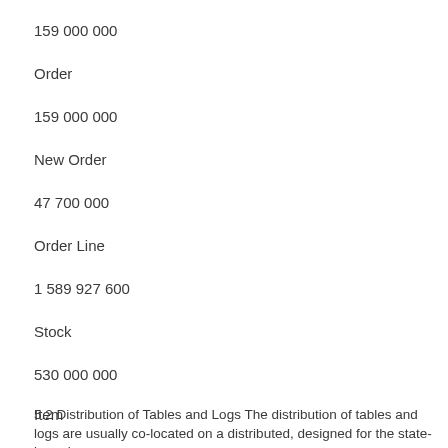159 000 000
Order
159 000 000
New Order
47 700 000
Order Line
1 589 927 600
Stock
530 000 000
Item
100 000
5.2 Distribution of Tables and Logs The distribution of tables and logs are usually co-located on a distributed, designed for the state-based